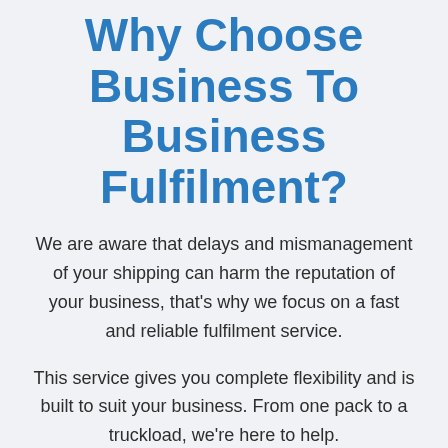Why Choose Business To Business Fulfilment?
We are aware that delays and mismanagement of your shipping can harm the reputation of your business, that’s why we focus on a fast and reliable fulfilment service.
This service gives you complete flexibility and is built to suit your business. From one pack to a truckload, we’re here to help.